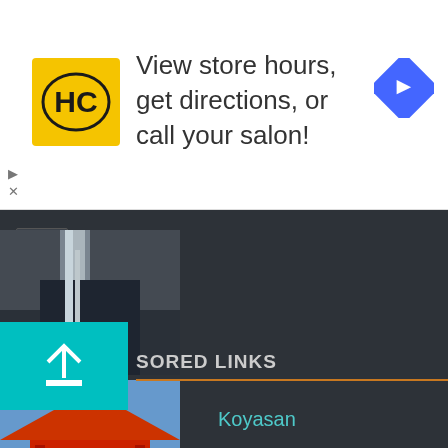[Figure (screenshot): Advertisement banner: HC logo (yellow square with HC letters), text 'View store hours, get directions, or call your salon!', blue diamond navigation icon on right. Small play and X controls at bottom left.]
[Figure (photo): Waterfall photo thumbnail, dark rocky scene with water cascading]
[Figure (photo): Red Japanese temple gate (torii style) photo thumbnail - Koyasan]
Koyasan
[Figure (screenshot): Sponsored links section with teal/cyan square containing white upward arrow, followed by text 'SORED LINKS' with orange underline]
SORED LINKS